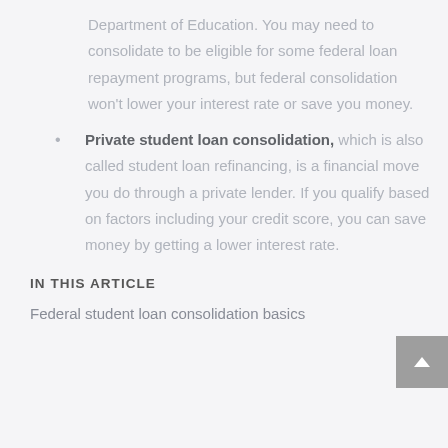Department of Education. You may need to consolidate to be eligible for some federal loan repayment programs, but federal consolidation won't lower your interest rate or save you money.
Private student loan consolidation, which is also called student loan refinancing, is a financial move you do through a private lender. If you qualify based on factors including your credit score, you can save money by getting a lower interest rate.
IN THIS ARTICLE
Federal student loan consolidation basics